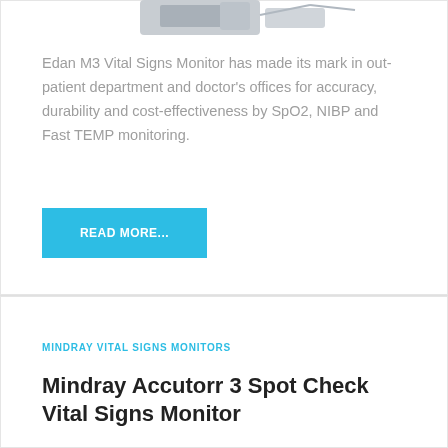[Figure (photo): Partial view of Edan M3 Vital Signs Monitor device, cropped at top of card]
Edan M3 Vital Signs Monitor has made its mark in out-patient department and doctor's offices for accuracy, durability and cost-effectiveness by SpO2, NIBP and Fast TEMP monitoring.
READ MORE...
MINDRAY VITAL SIGNS MONITORS
Mindray Accutorr 3 Spot Check Vital Signs Monitor